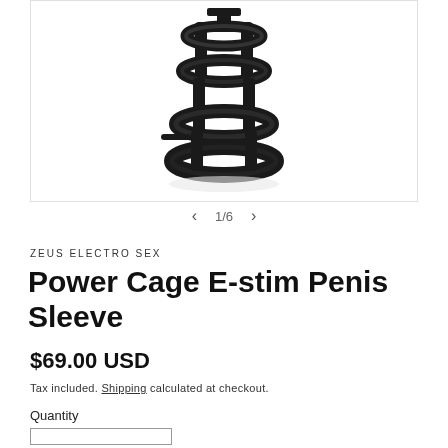[Figure (photo): Black cage-style electrostimulation penis sleeve device made of matte black material, with cylindrical band structure and protruding connector nub, photographed on white background]
1/6
ZEUS ELECTRO SEX
Power Cage E-stim Penis Sleeve
$69.00 USD
Tax included. Shipping calculated at checkout.
Quantity